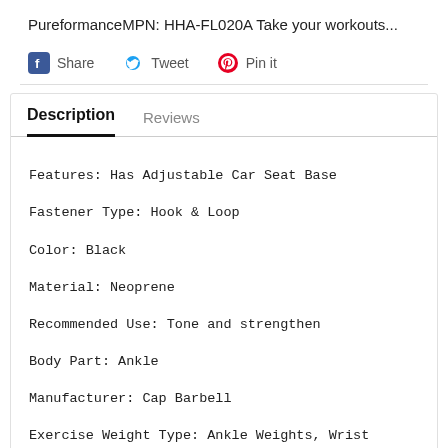PureformanceMPN: HHA-FL020A Take your workouts...
Share  Tweet  Pin it
Description
Reviews
Features: Has Adjustable Car Seat Base
Fastener Type: Hook & Loop
Color: Black
Material: Neoprene
Recommended Use: Tone and strengthen
Body Part: Ankle
Manufacturer: Cap Barbell
Exercise Weight Type: Ankle Weights, Wrist Weights
Gender: Unisex
Minimum Weight: 4 lb